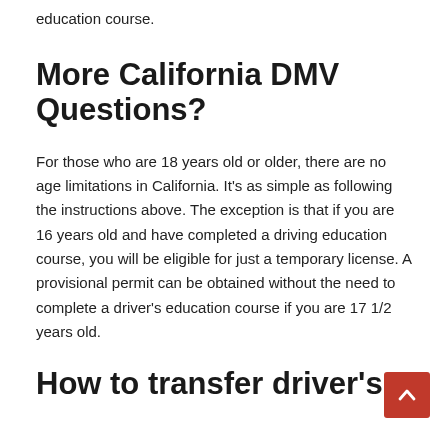education course.
More California DMV Questions?
For those who are 18 years old or older, there are no age limitations in California. It’s as simple as following the instructions above. The exception is that if you are 16 years old and have completed a driving education course, you will be eligible for just a temporary license. A provisional permit can be obtained without the need to complete a driver’s education course if you are 17 1/2 years old.
How to transfer driver’s